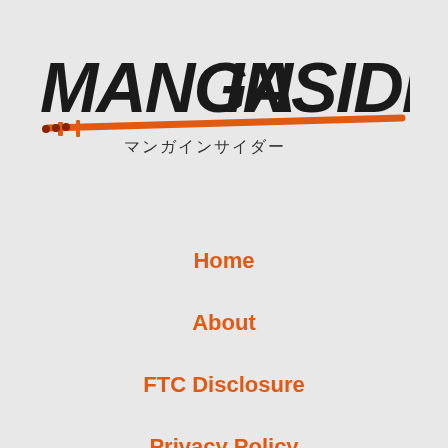[Figure (logo): Manga Insider logo with bold black stylized text 'MANGA INSIDER' and Japanese text 'マンガインサイダー' below, with an orange katana sword graphic underneath the English text]
Home
About
FTC Disclosure
Privacy Policy